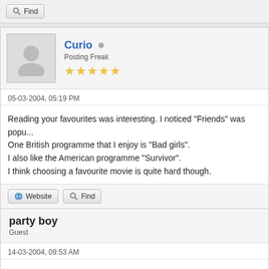Find
Curio · Posting Freak ★★★★★
05-03-2004, 05:19 PM
Reading your favourites was interesting. I noticed "Friends" was popular.
One British programme that I enjoy is "Bad girls".
I also like the American programme "Survivor".
I think choosing a favourite movie is quite hard though.
Website  Find
party boy
Guest
14-03-2004, 09:53 AM
favourite movies: half baked, freddy got fingered, stealing harvard.